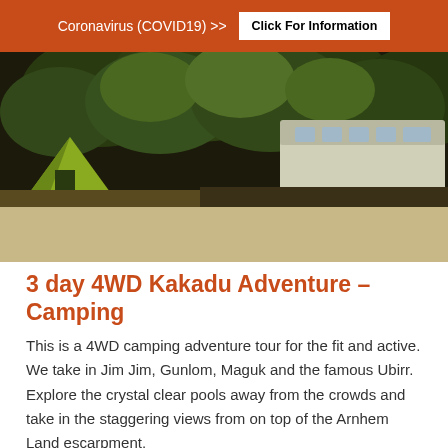Coronavirus (COVID19) >> Click For Information
[Figure (photo): Night-time camping scene with a green tent and a white tour bus parked among large trees in a forest]
3 day 4WD Kakadu Adventure – Camping
This is a 4WD camping adventure tour for the fit and active. We take in Jim Jim, Gunlom, Maguk and the famous Ubirr. Explore the crystal clear pools away from the crowds and take in the staggering views from on top of the Arnhem Land escarpment.